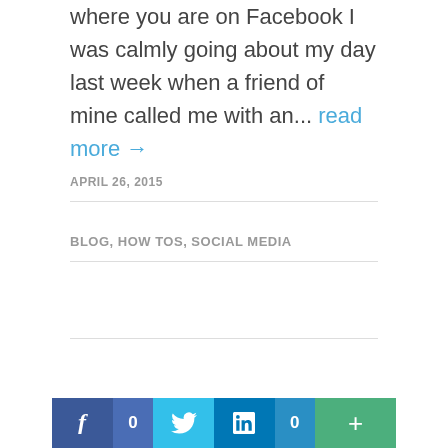where you are on Facebook I was calmly going about my day last week when a friend of mine called me with an... read more →
APRIL 26, 2015
BLOG, HOW TOS, SOCIAL MEDIA
[Figure (infographic): Social sharing bar with Facebook (f icon, count 0), Twitter (bird icon), LinkedIn (in icon, count 0), and more (+) buttons]